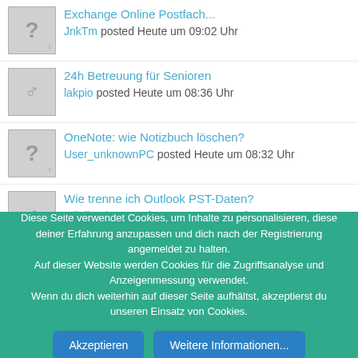Exchange Online Postfach... JnkTm posted Heute um 09:02 Uhr
24h Betreuung für Senioren lakpio posted Heute um 08:36 Uhr
OneNote: wie Notizbuch löschen? User_unknownPC posted Heute um 08:32 Uhr
Wie trenne ich Outlook PST-Daten? adisiionde posted Heute um 07:25 Uhr
Outlook Account gesperrt Loki Remus posted Gestern um 23:22 Uhr
Diese Seite verwendet Cookies, um Inhalte zu personalisieren, diese deiner Erfahrung anzupassen und dich nach der Registrierung angemeldet zu halten. Auf dieser Website werden Cookies für die Zugriffsanalyse und Anzeigenmessung verwendet. Wenn du dich weiterhin auf dieser Seite aufhältst, akzeptierst du unseren Einsatz von Cookies.
Akzeptieren   Weitere Informationen...